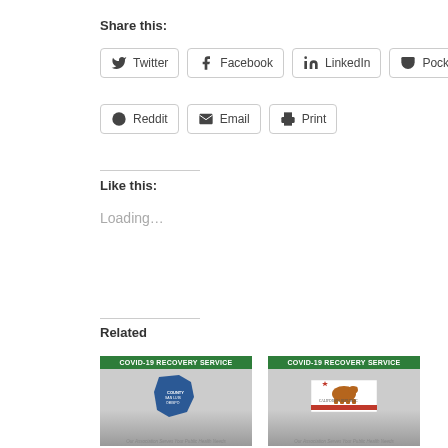Share this:
Twitter
Facebook
LinkedIn
Pocket
Reddit
Email
Print
Like this:
Loading...
Related
[Figure (photo): COVID-19 Recovery Service card showing SLO County map shape on grey background]
SLO County Remains in Purple Tier Due to
[Figure (photo): COVID-19 Recovery Service card showing California Republic bear flag on grey background]
State Updates COVID-19 'Blueprint'